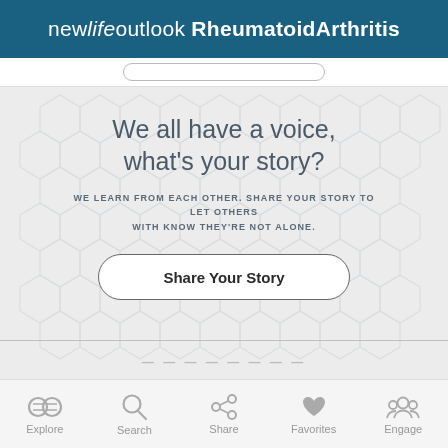new life outlook Rheumatoid Arthritis
We all have a voice, what's your story?
WE LEARN FROM EACH OTHER. SHARE YOUR STORY TO LET OTHERS WITH KNOW THEY'RE NOT ALONE.
Share Your Story
Explore  Search  Share  Favorites  Engage